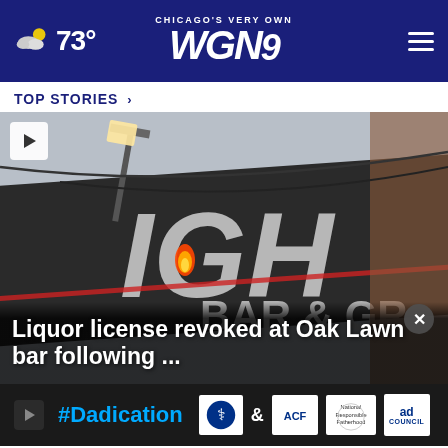CHICAGO'S VERY OWN WGN 9 — 73°
TOP STORIES ›
[Figure (screenshot): Video thumbnail showing a bar and grill sign (LIGH BAR & GR visible) with a small flame visible on a light fixture. A play button icon appears in the upper left.]
Liquor license revoked at Oak Lawn bar following ...
[Figure (infographic): Advertisement banner for #Dadication campaign featuring Ad Council and ACF logos on dark background]